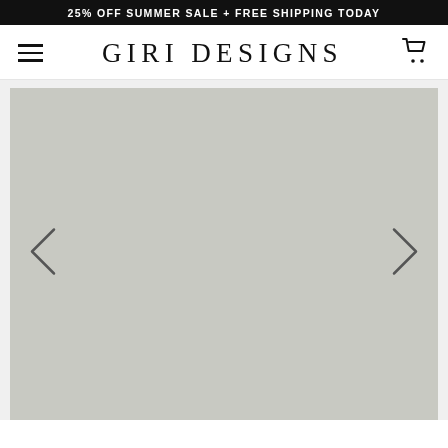25% OFF SUMMER SALE + FREE SHIPPING TODAY
GIRI DESIGNS
[Figure (screenshot): E-commerce website header with hamburger menu, GIRI DESIGNS logo, and shopping cart icon, followed by a large grey product image carousel with left and right navigation arrows]